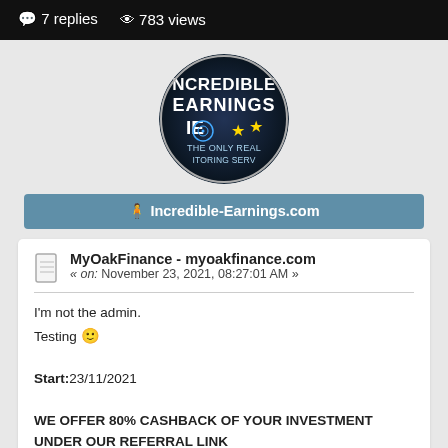7 replies  783 views
[Figure (logo): Incredible Earnings circular logo with text INCREDIBLE EARNINGS IE and stars, THE ONLY REAL MONITORING SERVICE]
🧍 Incredible-Earnings.com
MyOakFinance - myoakfinance.com
« on: November 23, 2021, 08:27:01 AM »
I'm not the admin.
Testing 🙂

Start:23/11/2021

WE OFFER 80% CASHBACK OF YOUR INVESTMENT UNDER OUR REFERRAL LINK